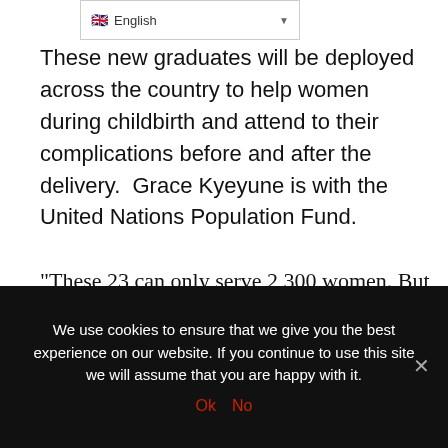English
These new graduates will be deployed across the country to help women during childbirth and attend to their complications before and after the delivery.  Grace Kyeyune is with the United Nations Population Fund.
“These 23 can only serve 2,300 women. But there are more women needing their support than before. We don’t want to get to a situation whereby we are saying it’s always too late. We know very well how many women are dying right now as
We use cookies on our website to give you the most relevant experience by remembering your preferences and repeat visits. By clicking “Accept”, you consent to the use
We use cookies to ensure that we give you the best experience on our website. If you continue to use this site we will assume that you are happy with it.
Ok   No